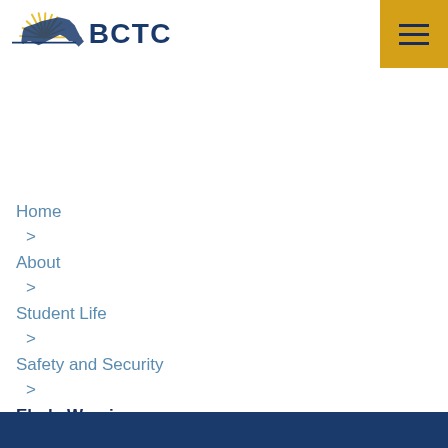[Figure (logo): BCTC (Bluegrass Community and Technical College) logo with Kentucky state outline and sunburst graphic in gold and dark blue, with BCTC text in dark blue]
[Figure (other): Gold/amber colored hamburger menu button with three horizontal lines]
Home
>
About
>
Student Life
>
Safety and Security
>
Ebola Warning